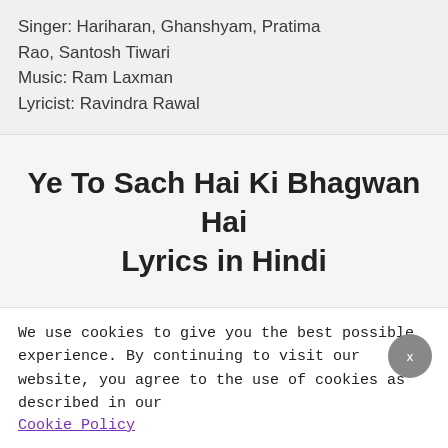Singer: Hariharan, Ghanshyam, Pratima Rao, Santosh Tiwari
Music: Ram Laxman
Lyricist: Ravindra Rawal
Ye To Sach Hai Ki Bhagwan Hai Lyrics in Hindi
We use cookies to give you the best possible experience. By continuing to visit our website, you agree to the use of cookies as described in our Cookie Policy